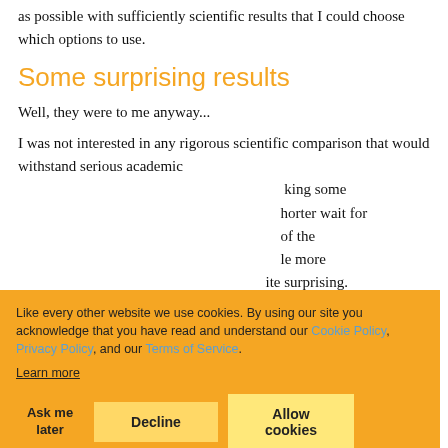as possible with sufficiently scientific results that I could choose which options to use.
Some surprising results
Well, they were to me anyway...
I was not interested in any rigorous scientific comparison that would withstand serious academic ...king some ...horter wait for ...of the ...le more ...ite surprising.
[Figure (screenshot): Cookie consent banner with orange background. Text: 'Like every other website we use cookies. By using our site you acknowledge that you have read and understand our Cookie Policy, Privacy Policy, and our Terms of Service. Learn more'. Buttons: 'Ask me later', 'Decline', 'Allow cookies'.]
An example: direct, unprotected read access to clos...